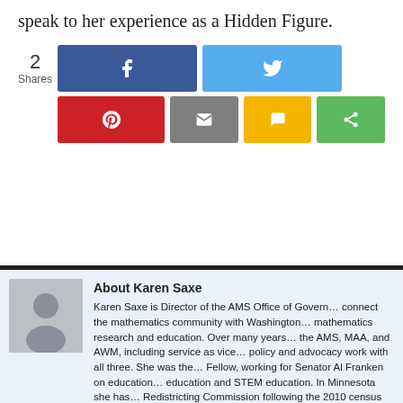speak to her experience as a Hidden Figure.
[Figure (infographic): Social sharing widget showing 2 Shares with buttons for Facebook, Twitter, Pinterest, Email, SMS, and Share]
About Karen Saxe
Karen Saxe is Director of the AMS Office of Govern... connect the mathematics community with Washington... mathematics research and education. Over many years... the AMS, MAA, and AWM, including service as vice ... policy and advocacy work with all three. She was the ... Fellow, working for Senator Al Franken on education ... education and STEM education. In Minnesota she has ... Redistricting Commission following the 2010 census a... Minnesota Redistricting Association The American...